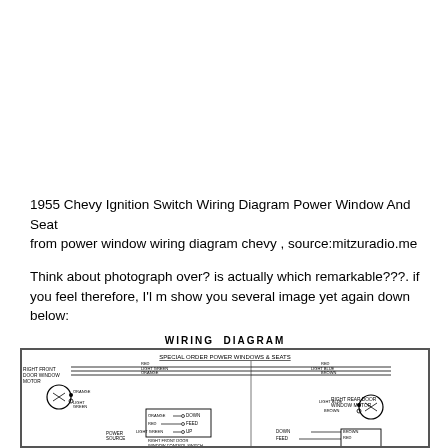1955 Chevy Ignition Switch Wiring Diagram Power Window And Seat from power window wiring diagram chevy , source:mitzuradio.me
Think about photograph over? is actually which remarkable???. if you feel therefore, I'l m show you several image yet again down below:
[Figure (schematic): Wiring diagram for 1955 Chevy Special Order Power Windows & Seats, showing Right Front Door Window Motor, Power Source, Right Front Door Window Control Switch (Down/Feed/Up), and Right Rear Door Window Motor (Down/Feed), with color-coded wires: Red, Light Green, Orange, Light Blue, Brown.]